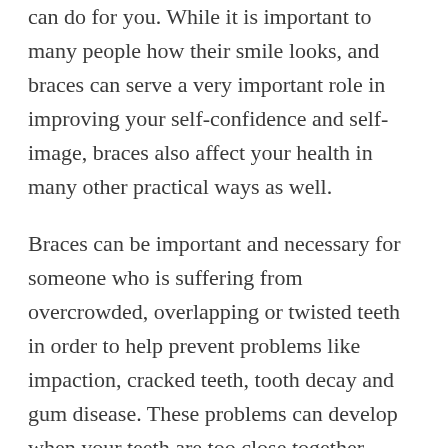can do for you. While it is important to many people how their smile looks, and braces can serve a very important role in improving your self-confidence and self-image, braces also affect your health in many other practical ways as well.
Braces can be important and necessary for someone who is suffering from overcrowded, overlapping or twisted teeth in order to help prevent problems like impaction, cracked teeth, tooth decay and gum disease. These problems can develop when your teeth are too close together, putting extra pressure on them and making it difficult to maintain good oral hygiene.
Braces may also be important and necessary for someone who has a malocclusion – an overbite,